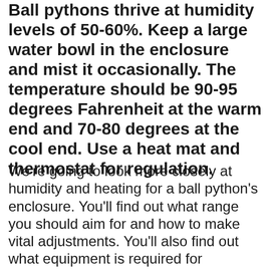Ball pythons thrive at humidity levels of 50-60%. Keep a large water bowl in the enclosure and mist it occasionally. The temperature should be 90-95 degrees Fahrenheit at the warm end and 70-80 degrees at the cool end. Use a heat mat and thermostat for regulation.
We're going to look more closely at humidity and heating for a ball python's enclosure. You'll find out what range you should aim for and how to make vital adjustments. You'll also find out what equipment is required for monitoring and regulating living conditions.